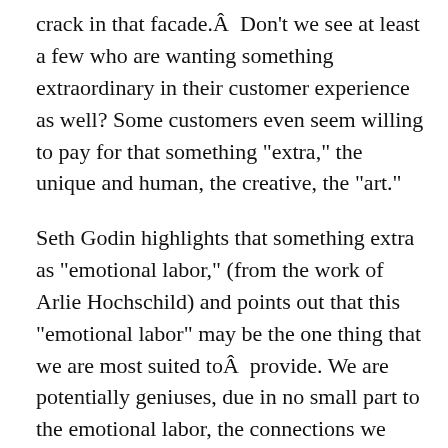crack in that facade.Â  Don’t we see at least a few who are wanting something extraordinary in their customer experience as well? Some customers even seem willing to pay for that something “extra,” the unique and human, the creative, the “art.”
Seth Godin highlights that something extra as “emotional labor,” (from the work of Arlie Hochschild) and points out that this “emotional labor” may be the one thing that we are most suited toÂ  provide. We are potentially geniuses, due in no small part to the emotional labor, the connections we make, the tenor of our interchanges when we allow our brilliant selves to shine. Yes, we have to